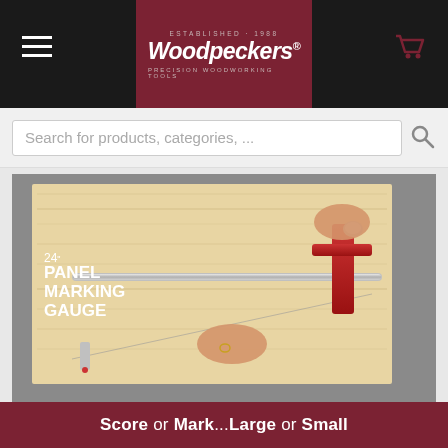[Figure (logo): Woodpeckers logo on dark red background with text 'ESTABLISHED - 1988' and 'PRECISION WOODWORKING TOOLS']
Search for products, categories, ...
[Figure (photo): Person using a 24-inch panel marking gauge on a light wood panel. The tool has a red T-handle and a long silver rod with a marking point at the bottom.]
24" PANEL MARKING GAUGE
Score or Mark...Large or Small